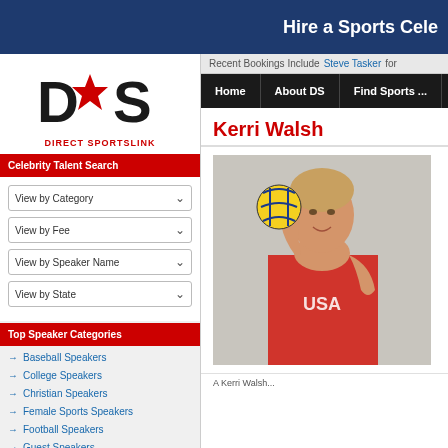Hire a Sports Cele...
[Figure (logo): Direct Sportslink logo with star in DS letters]
Celebrity Talent Search
View by Category
View by Fee
View by Speaker Name
View by State
Top Speaker Categories
Baseball Speakers
College Speakers
Christian Speakers
Female Sports Speakers
Football Speakers
Guest Speakers
Motivational Speakers
Recent Bookings Include
Steve Tasker for...
Kerri Walsh
[Figure (photo): Kerri Walsh in USA red sports top holding a volleyball beside her head, smiling]